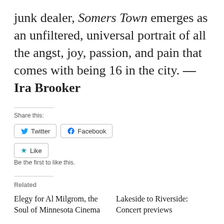junk dealer, Somers Town emerges as an unfiltered, universal portrait of all the angst, joy, passion, and pain that comes with being 16 in the city. —Ira Brooker
Share this:
Twitter  Facebook
Like
Be the first to like this.
Related
Elegy for Al Milgrom, the Soul of Minnesota Cinema
Lakeside to Riverside: Concert previews